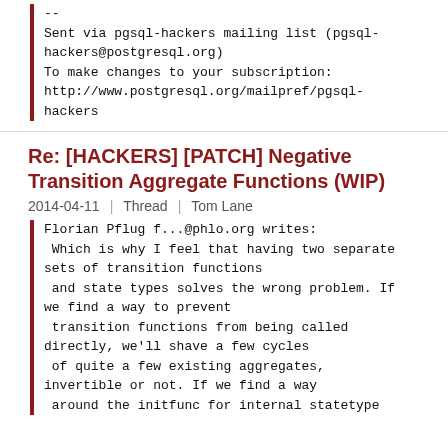--
Sent via pgsql-hackers mailing list (pgsql-hackers@postgresql.org)
To make changes to your subscription:
http://www.postgresql.org/mailpref/pgsql-hackers
Re: [HACKERS] [PATCH] Negative Transition Aggregate Functions (WIP)
2014-04-11 | Thread | Tom Lane
Florian Pflug f...@phlo.org writes:
 Which is why I feel that having two separate sets of transition functions
 and state types solves the wrong problem. If we find a way to prevent
 transition functions from being called directly, we'll shave a few cycles
 of quite a few existing aggregates,
 invertible or not. If we find a way
 around the initfunc for internal statetype...